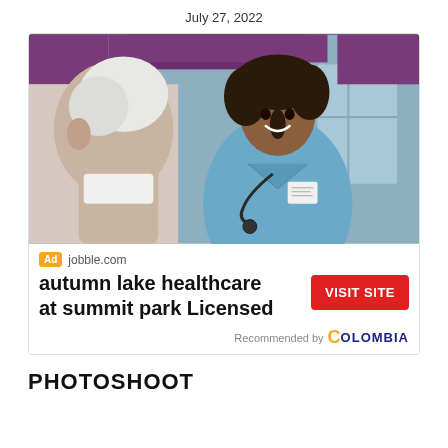July 27, 2022
[Figure (photo): Advertisement photo showing a smiling Black female nurse in blue scrubs with stethoscope talking to an elderly white-haired patient, with purple curtain background and window]
Ad jobble.com
autumn lake healthcare at summit park Licensed
VISIT SITE
Recommended by COLOMBIA
PHOTOSHOOT